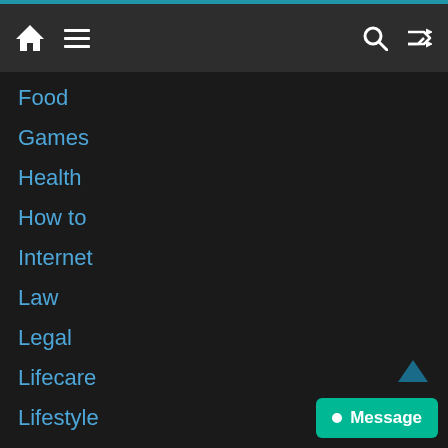Navigation header with home, menu, search, and shuffle icons
Food
Games
Health
How to
Internet
Law
Legal
Lifecare
Lifestyle
Marketing
Other
Pii
Real Estate